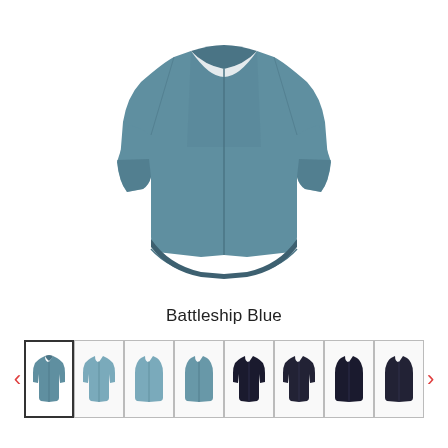[Figure (photo): Cycling jacket in Battleship Blue color, front view, long-sleeved windbreaker style]
Battleship Blue
[Figure (photo): Thumbnail strip showing 8 product variants: blue jacket, blue vest, dark jacket, dark vest, and various color combinations, with left/right navigation arrows]
$119.99 - $139.99
PayPal CREDIT  No Interest if paid in full in 6 months. Learn more
Color:
Select Color